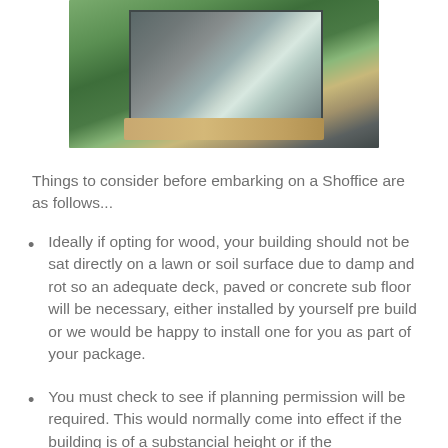[Figure (photo): A modern glass and steel garden office (shoffice) with wooden deck, surrounded by green lawn and trees]
Things to consider before embarking on a Shoffice are as follows...
Ideally if opting for wood, your building should not be sat directly on a lawn or soil surface due to damp and rot so an adequate deck, paved or concrete sub floor will be necessary, either installed by yourself pre build or we would be happy to install one for you as part of your package.
You must check to see if planning permission will be required. This would normally come into effect if the building is of a substancial height or if the position of the building to close to the boundary...